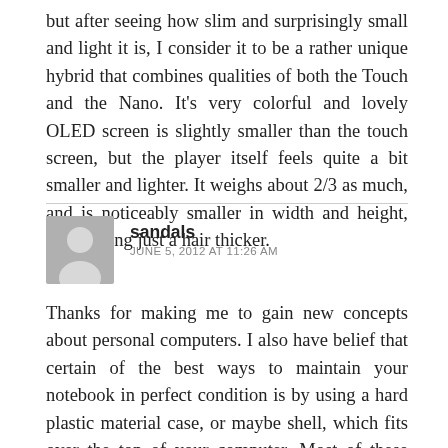but after seeing how slim and surprisingly small and light it is, I consider it to be a rather unique hybrid that combines qualities of both the Touch and the Nano. It's very colorful and lovely OLED screen is slightly smaller than the touch screen, but the player itself feels quite a bit smaller and lighter. It weighs about 2/3 as much, and is noticeably smaller in width and height, while being just a hair thicker.
sandals
JUNE 5, 2012 AT 11:26 AM
Thanks for making me to gain new concepts about personal computers. I also have belief that certain of the best ways to maintain your notebook in perfect condition is by using a hard plastic material case, or maybe shell, which fits over the top of your computer. Most of these protective gear tend to be model unique since they are made to fit perfectly over the natural casing. You can buy them directly from the seller, or from third party places if they are for your notebook.